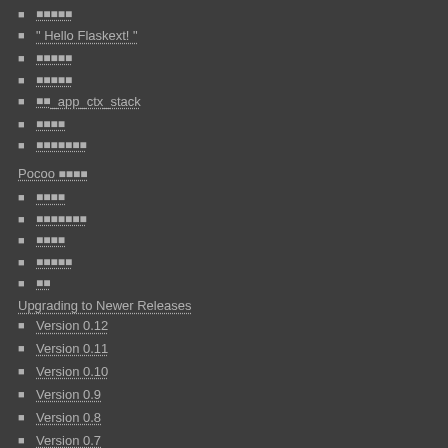■ ■■■■■
■ " Hello Flaskext! "
■ ■■■■■
■ ■■■■■
■ ■■ _app_ctx_stack
■ ■■■■
■ ■■■■■■■
Pocoo ■■■■
■ ■■■■
■ ■■■■■■■
■ ■■■■
■ ■■■■■
■ ■■
Upgrading to Newer Releases
■ Version 0.12
■ Version 0.11
■ Version 0.10
■ Version 0.9
■ Version 0.8
■ Version 0.7
■ Version 0.6
■ Version 0.5